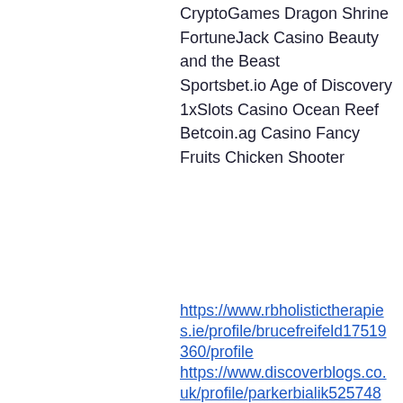CryptoGames Dragon Shrine
FortuneJack Casino Beauty and the Beast
Sportsbet.io Age of Discovery
1xSlots Casino Ocean Reef
Betcoin.ag Casino Fancy Fruits Chicken Shooter
https://www.rbholistictherapies.ie/profile/brucefreifeld17519360/profile
https://www.discoverblogs.co.uk/profile/parkerbialik5257488/profile
https://www.dbartconnection.com/profile/lukegastel10025119/profile
https://www.outthetrunkboutique.shop/profile/rufusderocher19953059/profile
[Figure (logo): Dark navy blue banner image showing two circular/shield logos — a yellow circular emblem on the left and a shield-shaped emblem on the right, both with decorative elements including laurel wreath and musical/organizational symbols. A blue chat bubble with three dots appears at the right edge.]